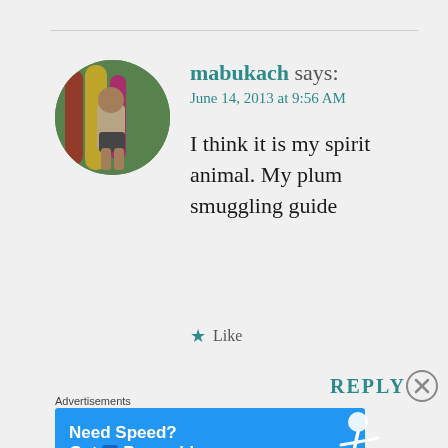mabukach says:
June 14, 2013 at 9:56 AM

I think it is my spirit animal. My plum smuggling guide
Like
REPLY
Advertisements
[Figure (screenshot): Blue advertisement banner: 'Need Speed? Get Pressable' with a running figure on the right side.]